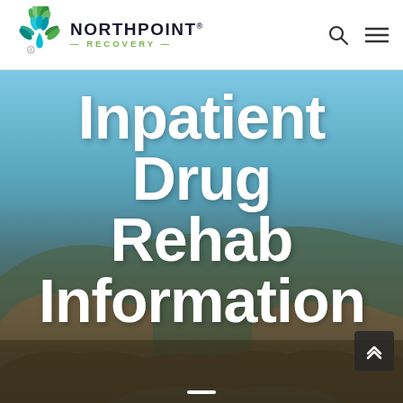[Figure (logo): Northpoint Recovery logo with green leaf/water drop icon and text 'NORTHPOINT RECOVERY']
Inpatient Drug Rehab Information
[Figure (photo): Aerial scenic landscape photo with rocky terrain, river canyon, cliffs and sky at dusk/dawn, used as hero background]